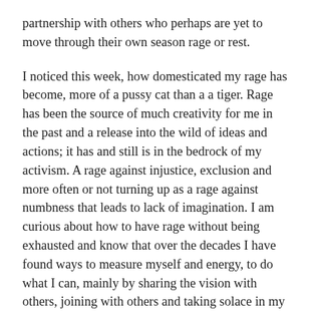partnership with others who perhaps are yet to move through their own season rage or rest.
I noticed this week, how domesticated my rage has become, more of a pussy cat than a a tiger. Rage has been the source of much creativity for me in the past and a release into the wild of ideas and actions; it has and still is in the bedrock of my activism. A rage against injustice, exclusion and more often or not turning up as a rage against numbness that leads to lack of imagination. I am curious about how to have rage without being exhausted and know that over the decades I have found ways to measure myself and energy, to do what I can, mainly by sharing the vision with others, joining with others and taking solace in my limits as gift to make spaces for others. What has been niggling at me this week, and it has led me to some resting, is a reflection on why rage alone cannot sustain, and how to keep the flame alive when the rage gets tamed. I am wrestling with the idea that my rage has got house trained over the many years and